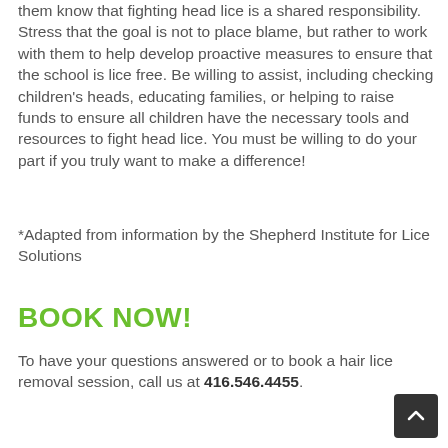them know that fighting head lice is a shared responsibility. Stress that the goal is not to place blame, but rather to work with them to help develop proactive measures to ensure that the school is lice free. Be willing to assist, including checking children's heads, educating families, or helping to raise funds to ensure all children have the necessary tools and resources to fight head lice. You must be willing to do your part if you truly want to make a difference!
*Adapted from information by the Shepherd Institute for Lice Solutions
BOOK NOW!
To have your questions answered or to book a hair lice removal session, call us at 416.546.4455.